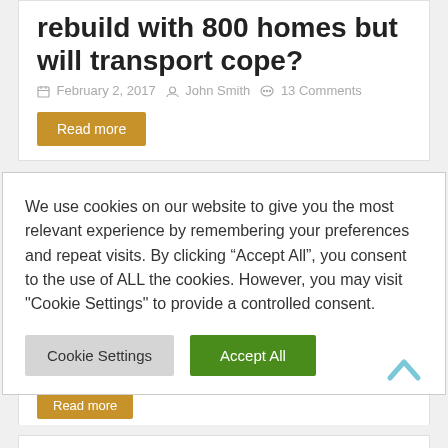rebuild with 800 homes but will transport cope?
February 2, 2017  John Smith  13 Comments
Read more
We use cookies on our website to give you the most relevant experience by remembering your preferences and repeat visits. By clicking “Accept All”, you consent to the use of ALL the cookies. However, you may visit "Cookie Settings" to provide a controlled consent.
Cookie Settings
Accept All
Read more
Greenwich from sea and air
October 21, 2016  John Smith  1 Comment